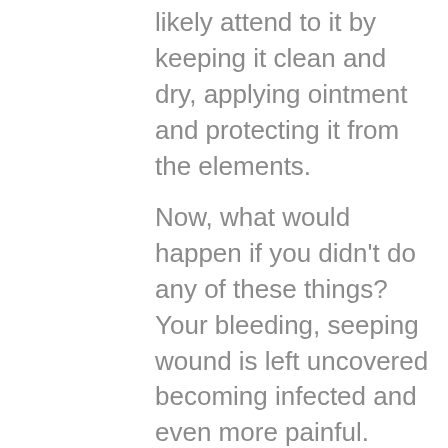likely attend to it by keeping it clean and dry, applying ointment and protecting it from the elements.
Now, what would happen if you didn't do any of these things? Your bleeding, seeping wound is left uncovered becoming infected and even more painful. Infection left unattended to can quickly spread even causing issues in your bloodstream and eventually lead to death.  Left uncovered, a wound can draw flies. Flies land on poop and garbage all day and carry disease on their feet. Landing on a healthy skin surface only requires waving away the flies, but giving them access to